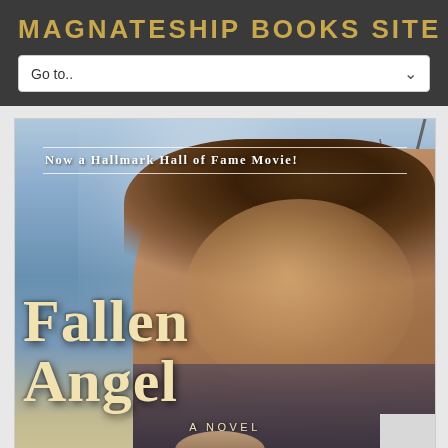MAGNATESHIP BOOKS SITE
Go to..
[Figure (photo): Book cover for 'Fallen Angel - A Novel' featuring a smiling man with brown hair against a winter sky background. Text reads 'Now a Hallmark Hall of Fame Movie!' at the top, with large stylized text 'Fallen Angel' and 'A Novel' below.]